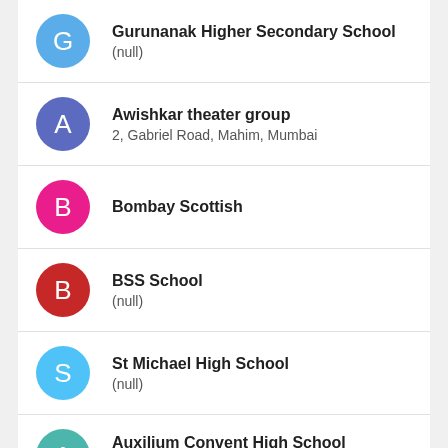Gurunanak Higher Secondary School
(null)
Awishkar theater group
2, Gabriel Road, Mahim, Mumbai
Bombay Scottish
BSS School
(null)
St Michael High School
(null)
Auxilium Convent High School (partial)